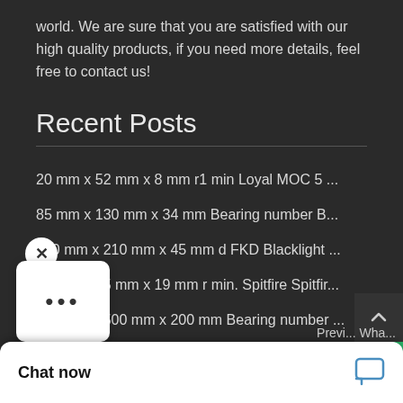world. We are sure that you are satisfied with our high quality products, if you need more details, feel free to contact us!
Recent Posts
20 mm x 52 mm x 8 mm r1 min Loyal MOC 5 ...
85 mm x 130 mm x 34 mm Bearing number B...
140 mm x 210 mm x 45 mm d FKD Blacklight ...
30 mm x 55 mm x 19 mm r min. Spitfire Spitfir...
300 mm x 500 mm x 200 mm Bearing number ...
Chat now